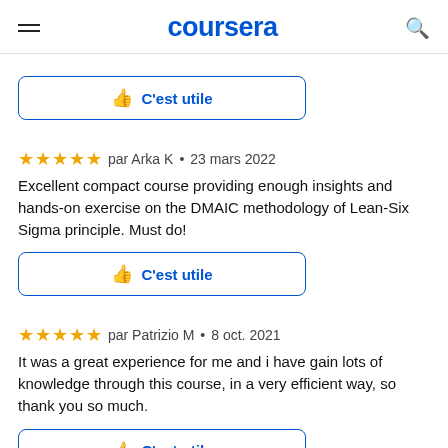coursera
[Figure (other): C'est utile (thumbs up like button) — first instance]
par Arka K • 23 mars 2022
Excellent compact course providing enough insights and hands-on exercise on the DMAIC methodology of Lean-Six Sigma principle. Must do!
[Figure (other): C'est utile (thumbs up like button) — second instance]
par Patrizio M • 8 oct. 2021
It was a great experience for me and i have gain lots of knowledge through this course, in a very efficient way, so thank you so much.
[Figure (other): C'est utile (thumbs up like button) — third instance, partially visible]